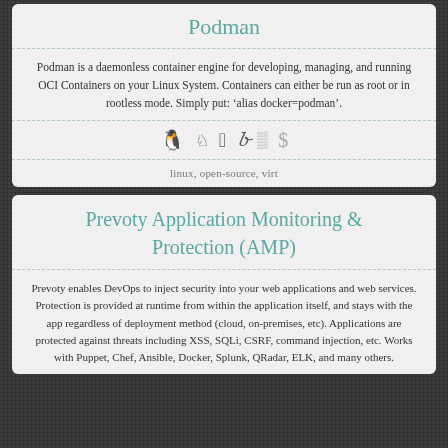Podman
Podman is a daemonless container engine for developing, managing, and running OCI Containers on your Linux System. Containers can either be run as root or in rootless mode. Simply put: 'alias docker=podman'.
[Figure (infographic): Row of small icons representing platforms: Linux penguin, Windows, Apple/Mac, a script/curl icon, and two others (grayed out) representing cost/dollar]
linux, open-source, virt
Prevoty Application Monitoring & Protection (AMP)
Prevoty enables DevOps to inject security into your web applications and web services. Protection is provided at runtime from within the application itself, and stays with the app regardless of deployment method (cloud, on-premises, etc). Applications are protected against threats including XSS, SQLi, CSRF, command injection, etc. Works with Puppet, Chef, Ansible, Docker, Splunk, QRadar, ELK, and many others.